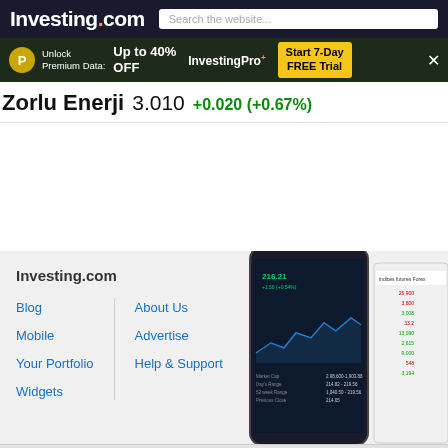Investing.com — Search the website...
[Figure (screenshot): Investing.com promotional banner: Unlock Premium Data: Up to 40% OFF InvestingPro+ Start 7-Day FREE Trial]
Zorlu Enerji  3.010  +0.020 (+0.67%)
[Figure (screenshot): Investing.com mobile app and website screenshot showing Apple stock chart and financial data]
Investing.com
Blog
Mobile
Your Portfolio
Widgets
About Us
Advertise
Help & Support
ZOREN Comments